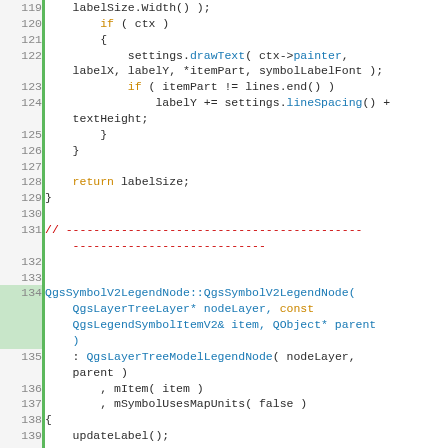[Figure (screenshot): Source code listing in C++ showing lines 119-144 of a QGIS legend node implementation. Code includes conditional drawing of text labels, return statement, a comment divider, and constructor definition for QgsSymbolV2LegendNode.]